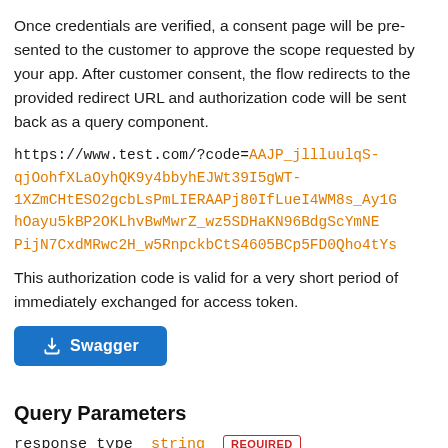Once credentials are verified, a consent page will be presented to the customer to approve the scope requested by your app. After customer consent, the flow redirects to the provided redirect URL and authorization code will be sent back as a query component.
https://www.test.com/?code=AAJP_jllluulqS-qjOohfXLaOyhQK9y4bbyhEJWt39I5gWT-1XZmCHtESO2gcbLsPmLIERAAPj80IfLueI4WM8s_Ay1G... hOayu5kBP2OKLhvBwMwrZ_wz5SDHaKN96BdgScYmNE... PijN7CxdMRwc2H_w5RnpckbCtS4605BCp5FD0Qho4tYs...
This authorization code is valid for a very short period of time and immediately exchanged for access token.
[Figure (other): Swagger button with download icon]
Query Parameters
response_type   string   REQUIRED